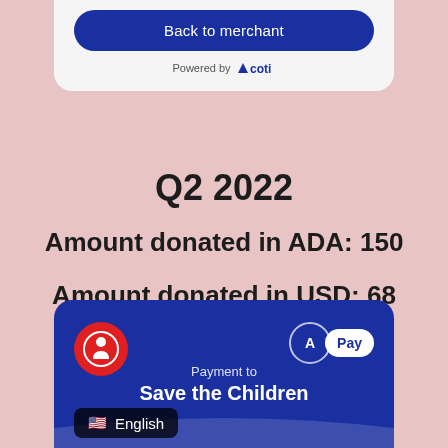[Figure (screenshot): Top card with 'Back to merchant' blue button and 'Powered by coti' text on light gray background]
Q2 2022
Amount donated in ADA: 150
Amount donated in USD: 68
[Figure (screenshot): Bottom blue card showing Save the Children payment interface with red icon, ADA Pay badge, 'Payment to Save the Children' text, and English language selector]